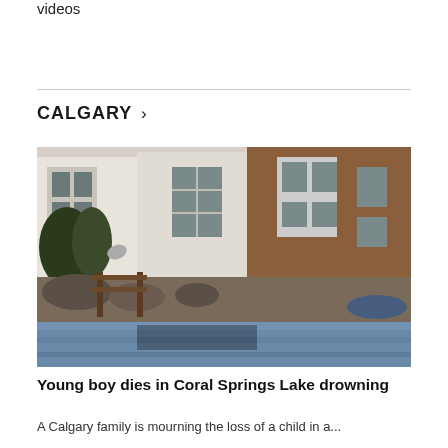videos
CALGARY >
[Figure (photo): A lakeside scene showing residential houses with white and brick facades along the water's edge, with rocks and a wooden dock/railing in the foreground and blue water visible.]
Young boy dies in Coral Springs Lake drowning
A Calgary family is mourning the loss of a child in a...